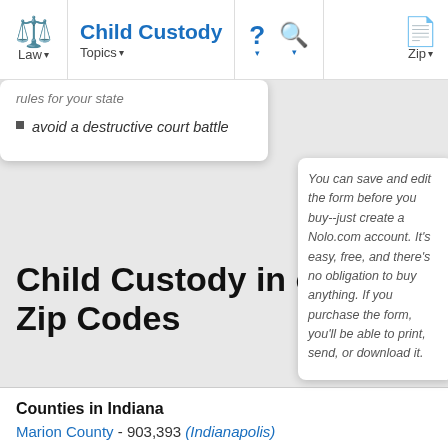Child Custody | Law | Topics | Zip
rules for your state
avoid a destructive court battle
You can save and edit the form before you buy--just create a Nolo.com account. It's easy, free, and there's no obligation to buy anything. If you purchase the form, you'll be able to print, send, or download it.
Child Custody in other Zip Codes
Counties in Indiana
Marion County - 903,393 (Indianapolis)